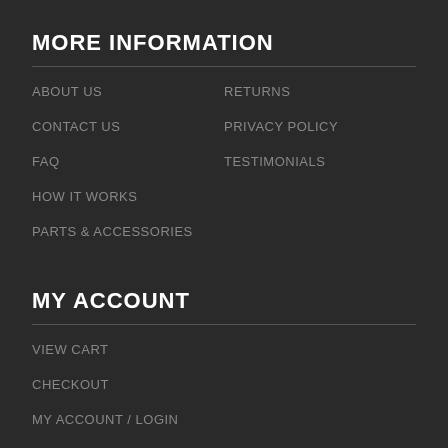MORE INFORMATION
ABOUT US
CONTACT US
FAQ
HOW IT WORKS
PARTS & ACCESSORIES
RETURNS
PRIVACY POLICY
TESTIMONIALS
MY ACCOUNT
VIEW CART
CHECKOUT
MY ACCOUNT / LOGIN
WISHLIST